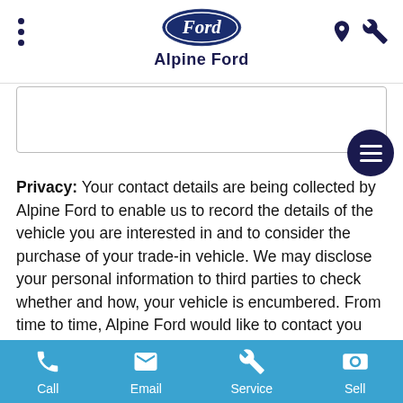Alpine Ford
[Figure (screenshot): Search/input box area with hamburger menu button overlay]
Privacy: Your contact details are being collected by Alpine Ford to enable us to record the details of the vehicle you are interested in and to consider the purchase of your trade-in vehicle. We may disclose your personal information to third parties to check whether and how, your vehicle is encumbered. From time to time, Alpine Ford would like to contact you and to let you know about our products and services, including special offers. If
Call  Email  Service  Sell